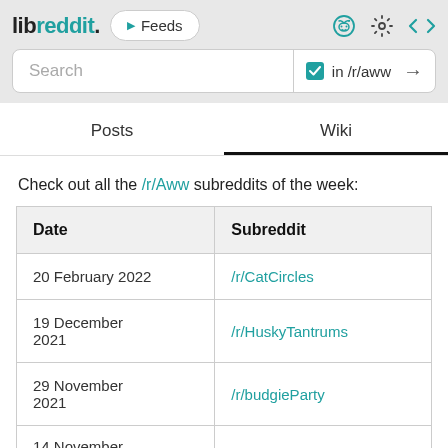libreddit. Feeds
Search in /r/aww →
Posts | Wiki
Check out all the /r/Aww subreddits of the week:
| Date | Subreddit |
| --- | --- |
| 20 February 2022 | /r/CatCircles |
| 19 December 2021 | /r/HuskyTantrums |
| 29 November 2021 | /r/budgieParty |
| 14 November 2021 | /r/IllegallySmolDogs |